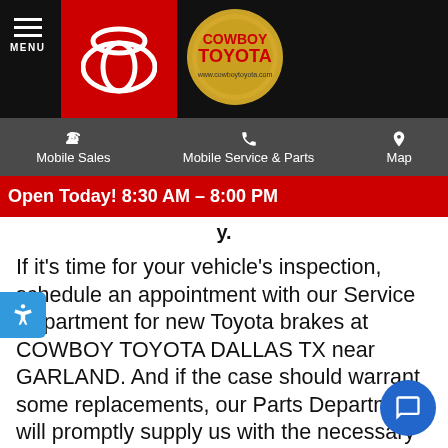MENU | Cowboy Toyota
Mobile Sales | Mobile Service & Parts | Map
Open Today! 8:30 AM - 8:00 PM
If it's time for your vehicle's inspection, schedule an appointment with our Service Department for new Toyota brakes at COWBOY TOYOTA DALLAS TX near GARLAND. And if the case should warrant some replacements, our Parts Department will promptly supply us with the necessary pieces. When it comes to your safety, investing in good brakes and timely brake services will provide you with peace of mind, and with the confidence to drive to any destination, be it a daily commute or traveling to a neighboring state.